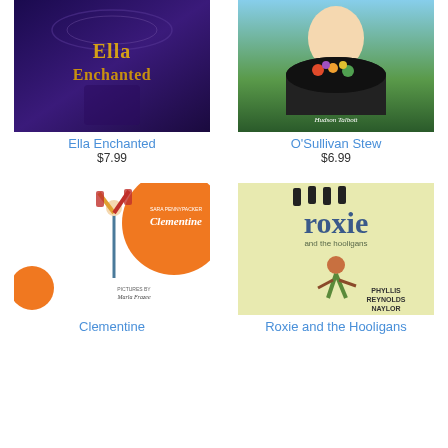[Figure (illustration): Book cover of Ella Enchanted - dark purple/blue background with golden title text]
[Figure (illustration): Book cover of O'Sullivan Stew by Hudson Talbott - woman holding large cauldron with colorful contents]
Ella Enchanted
O'Sullivan Stew
$7.99
$6.99
[Figure (illustration): Book cover of Clementine by Sara Pennypacker, illustrated by Marla Frazee - orange circle, child doing handstand]
[Figure (illustration): Book cover of Roxie and the Hooligans by Phyllis Reynolds Naylor - yellow-green background, girl running, silhouettes on top]
Clementine
Roxie and the Hooligans